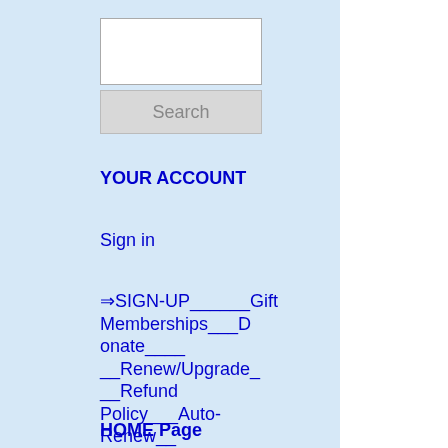[Figure (other): Search text input box (white rectangle)]
Search
YOUR ACCOUNT
Sign in
⇒SIGN-UP______Gift Memberships___Donate____ __Renew/Upgrade___Refund Policy___Auto-Renew__
HOME Page